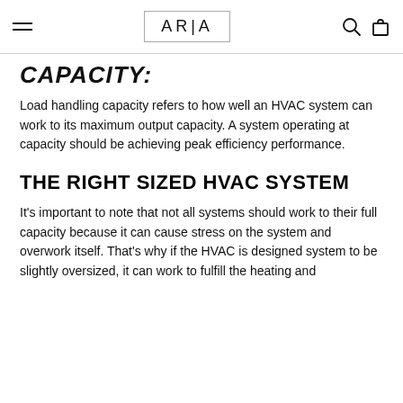ARIA
CAPACITY:
Load handling capacity refers to how well an HVAC system can work to its maximum output capacity. A system operating at capacity should be achieving peak efficiency performance.
THE RIGHT SIZED HVAC SYSTEM
It's important to note that not all systems should work to their full capacity because it can cause stress on the system and overwork itself. That's why if the HVAC is designed system to be slightly oversized, it can work to fulfill the heating and